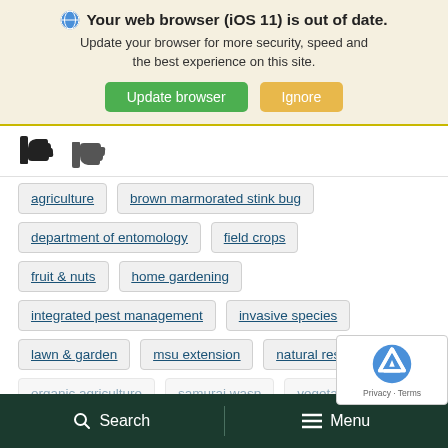[Figure (screenshot): Browser update notification banner with globe icon, bold title 'Your web browser (iOS 11) is out of date.', subtitle text, and two buttons: 'Update browser' (green) and 'Ignore' (orange/yellow)]
[Figure (illustration): Thumbs up and thumbs down icons side by side]
agriculture
brown marmorated stink bug
department of entomology
field crops
fruit & nuts
home gardening
integrated pest management
invasive species
lawn & garden
msu extension
natural resour
organic agriculture
samurai wasp
vegetables
Search   Menu